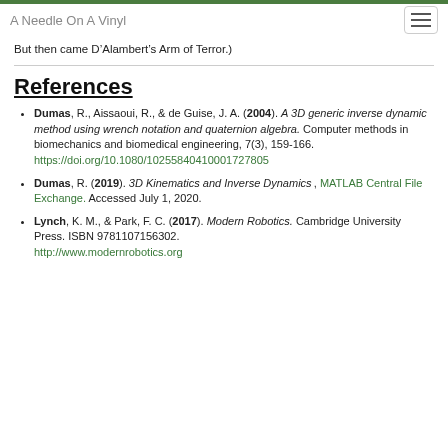A Needle On A Vinyl
But then came D'Alambert's Arm of Terror.)
References
Dumas, R., Aissaoui, R., & de Guise, J. A. (2004). A 3D generic inverse dynamic method using wrench notation and quaternion algebra. Computer methods in biomechanics and biomedical engineering, 7(3), 159-166. https://doi.org/10.1080/10255840410001727805
Dumas, R. (2019). 3D Kinematics and Inverse Dynamics, MATLAB Central File Exchange. Accessed July 1, 2020.
Lynch, K. M., & Park, F. C. (2017). Modern Robotics. Cambridge University Press. ISBN 9781107156302. http://www.modernrobotics.org